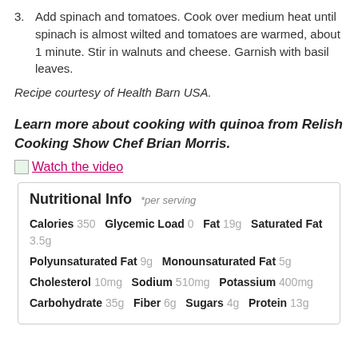3. Add spinach and tomatoes. Cook over medium heat until spinach is almost wilted and tomatoes are warmed, about 1 minute. Stir in walnuts and cheese. Garnish with basil leaves.
Recipe courtesy of Health Barn USA.
Learn more about cooking with quinoa from Relish Cooking Show Chef Brian Morris.
Watch the video
| Nutritional Info | *per serving |
| --- | --- |
| Calories | 350 | Glycemic Load | 0 | Fat | 19g | Saturated Fat | 3.5g |
| Polyunsaturated Fat | 9g | Monounsaturated Fat | 5g |
| Cholesterol | 10mg | Sodium | 510mg | Potassium | 400mg |
| Carbohydrate | 35g | Fiber | 6g | Sugars | 4g | Protein | 13g |